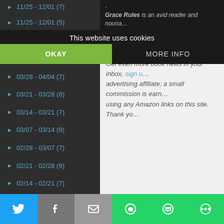This website uses cookies
OKAY
MORE INFO
▶ 04/04 - 04/11 (7)
▶ 03/28 - 04/04 (7)
▶ 03/21 - 03/28 (8)
▶ 03/14 - 03/21 (7)
▶ 03/07 - 03/14 (8)
▶ 02/28 - 03/07 (7)
▶ 02/21 - 02/28 (9)
▶ 02/14 - 02/21 (7)
▶ 02/07 - 02/14 (7)
▶ 01/31 - 02/07 (9)
▼ 01/24 - 01/31 (8)
The Last Days of
Get even more book news in your inbox, sign … advertising affiliate; a small commission is earn… using any Amazon links on this site. Thank yo…
Twitter | Facebook | Email | WhatsApp | SMS | Other